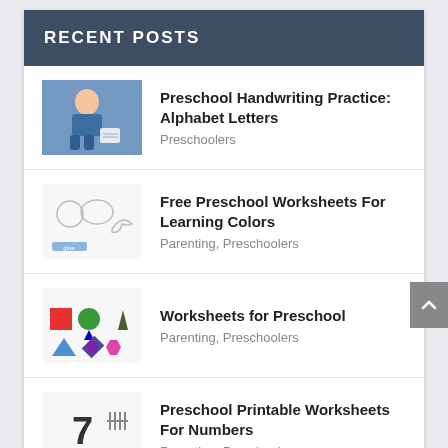RECENT POSTS
Preschool Handwriting Practice: Alphabet Letters — Preschoolers
Free Preschool Worksheets For Learning Colors — Parenting, Preschoolers
Worksheets for Preschool — Parenting, Preschoolers
Preschool Printable Worksheets For Numbers — Parenting, Preschoolers
Preschool Diplomas